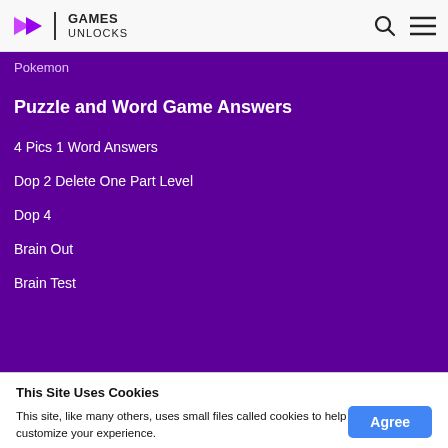GAMES UNLOCKS
Pokemon
Puzzle and Word Game Answers
4 Pics 1 Word Answers
Dop 2 Delete One Part Level
Dop 4
Brain Out
Brain Test
This Site Uses Cookies
This site, like many others, uses small files called cookies to help us improve and customize your experience.